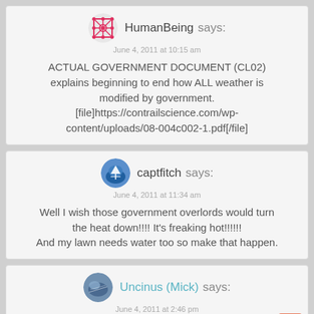HumanBeing says: June 4, 2011 at 10:15 am
ACTUAL GOVERNMENT DOCUMENT (CL02) explains beginning to end how ALL weather is modified by government. [file]https://contrailscience.com/wp-content/uploads/08-004c002-1.pdf[/file]
captfitch says: June 4, 2011 at 11:34 am
Well I wish those government overlords would turn the heat down!!!! It’s freaking hot!!!!!! And my lawn needs water too so make that happen.
Uncinus (Mick) says: June 4, 2011 at 2:46 pm
That appears simply to be an email from Andrea